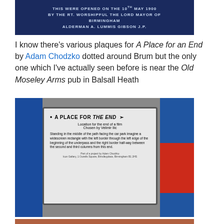[Figure (photo): Blue plaque showing text about opening by the Rt Worshipful the Lord Mayor of Birmingham, Alderman A. Lummis Gibson J.P.]
I know there's various plaques for A Place for an End by Adam Chodzko dotted around Brum but the only one which I've actually seen before is near the Old Moseley Arms pub in Balsall Heath
[Figure (photo): Photo of a white sign reading 'A PLACE FOR THE END' with instructions about a film location chosen by Velimir Ilic, mounted on a blue railing outdoors.]
[Figure (photo): Partial photo of a brick wall with a small white sign reading 'NO SWIMMING']